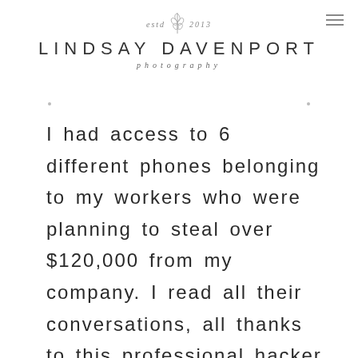[Figure (logo): Lindsay Davenport Photography logo with 'estd 2013' text, a lavender sprig illustration, brand name in spaced capitals, and 'photography' in spaced italic]
I had access to 6 different phones belonging to my workers who were planning to steal over $120,000 from my company. I read all their conversations, all thanks to this professional hacker by the name